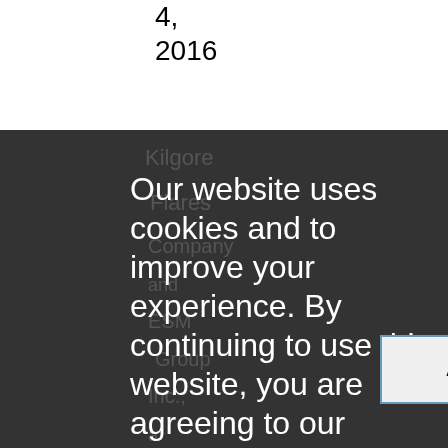4,
2016
Kilgore
Flares
Company
and
ESM
Group
Inc.,
a
subcontractor,
agreed
to
pay
$0
million
Our website uses cookies and to improve your experience. By continuing to use this website, you are agreeing to our Cookie Policy.
ACCEPT ✔